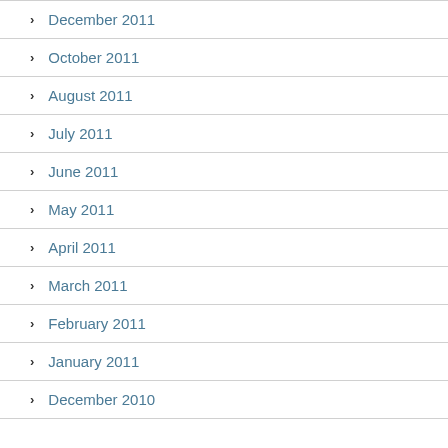December 2011
October 2011
August 2011
July 2011
June 2011
May 2011
April 2011
March 2011
February 2011
January 2011
December 2010